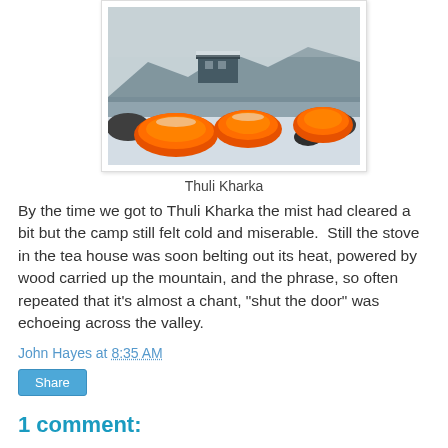[Figure (photo): Orange tents in a snow-covered mountain camp with a building visible in the misty background. Thuli Kharka campsite.]
Thuli Kharka
By the time we got to Thuli Kharka the mist had cleared a bit but the camp still felt cold and miserable.  Still the stove in the tea house was soon belting out its heat, powered by wood carried up the mountain, and the phrase, so often repeated that it's almost a chant, "shut the door" was echoeing across the valley.
John Hayes at 8:35 AM
Share
1 comment: